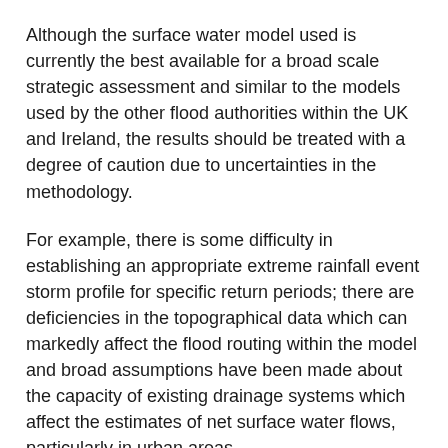Although the surface water model used is currently the best available for a broad scale strategic assessment and similar to the models used by the other flood authorities within the UK and Ireland, the results should be treated with a degree of caution due to uncertainties in the methodology.
For example, there is some difficulty in establishing an appropriate extreme rainfall event storm profile for specific return periods; there are deficiencies in the topographical data which can markedly affect the flood routing within the model and broad assumptions have been made about the capacity of existing drainage systems which affect the estimates of net surface water flows, particularly in urban areas.
As a consequence the flooded area maps derived from the model should be treated with caution and viewed as indicative rather than accurate or precise.